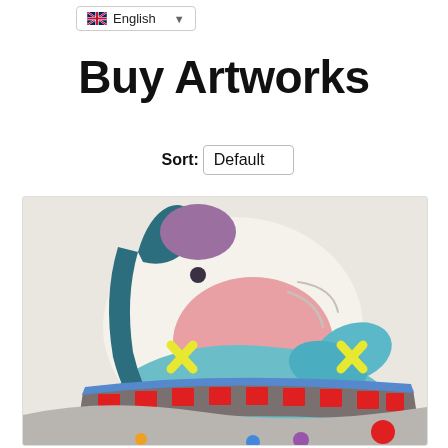English
Buy Artworks
Sort: Default
[Figure (illustration): A colorful KAWS-style pop art illustration showing an abstract cartoon character with teal/dark blue limbs, a purple head element, pink and teal body shapes with yellow X marks, and a red checkered band element on a light beige background. Several small colored dots visible at the bottom.]